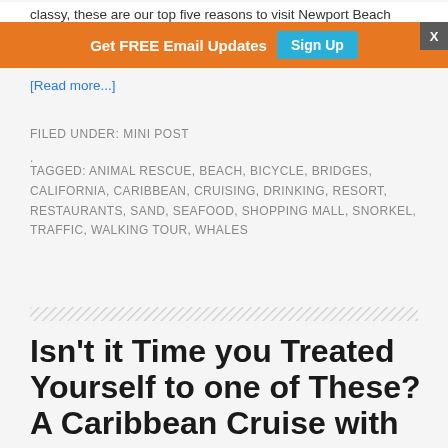classy, these are our top five reasons to visit Newport Beach
Get FREE Email Updates  Sign Up  X
[Read more...]
FILED UNDER: MINI POST
.
TAGGED: ANIMAL RESCUE, BEACH, BICYCLE, BRIDGES, CALIFORNIA, CARIBBEAN, CRUISING, DRINKING, RESORT, RESTAURANTS, SAND, SEAFOOD, SHOPPING MALL, SNORKEL, TRAFFIC, WALKING TOUR, WHALES
Isn’t it Time you Treated Yourself to one of These? A Caribbean Cruise with